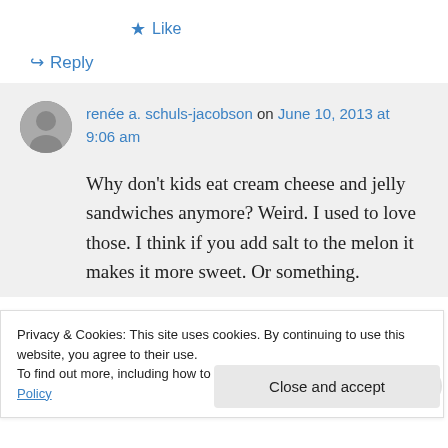★ Like
↪ Reply
renée a. schuls-jacobson on June 10, 2013 at 9:06 am
Why don't kids eat cream cheese and jelly sandwiches anymore? Weird. I used to love those. I think if you add salt to the melon it makes it more sweet. Or something.
Privacy & Cookies: This site uses cookies. By continuing to use this website, you agree to their use.
To find out more, including how to control cookies, see here: Cookie Policy
Close and accept